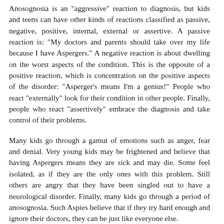Anosognosia is an "aggressive" reaction to diagnosis, but kids and teens can have other kinds of reactions classified as passive, negative, positive, internal, external or assertive. A passive reaction is: "My doctors and parents should take over my life because I have Aspergers." A negative reaction is about dwelling on the worst aspects of the condition. This is the opposite of a positive reaction, which is concentration on the positive aspects of the disorder: "Asperger's means I'm a genius!" People who react "externally" look for their condition in other people. Finally, people who react "assertively" embrace the diagnosis and take control of their problems.
Many kids go through a gamut of emotions such as anger, fear and denial. Very young kids may be frightened and believe that having Aspergers means they are sick and may die. Some feel isolated, as if they are the only ones with this problem. Still others are angry that they have been singled out to have a neurological disorder. Finally, many kids go through a period of anosognosia. Such Aspies believe that if they try hard enough and ignore their doctors, they can be just like everyone else.
However, if the youngster is over age eight years or so, the most